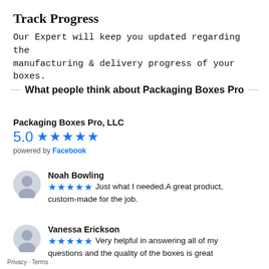Track Progress
Our Expert will keep you updated regarding the manufacturing & delivery progress of your boxes.
What people think about Packaging Boxes Pro
Packaging Boxes Pro, LLC
5.0 ★★★★★
powered by Facebook
Noah Bowling
★★★★★ Just what I needed.A great product, custom-made for the job.
Vanessa Erickson
★★★★★ Very helpful in answering all of my questions and the quality of the boxes is great
Privacy · Terms